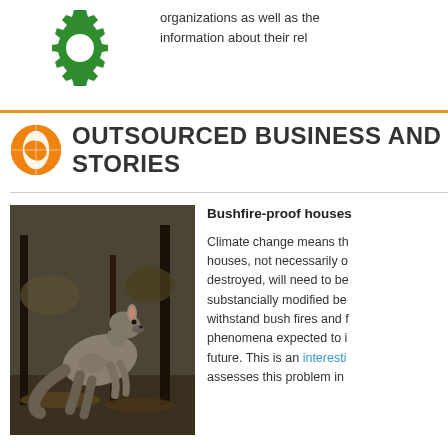[Figure (logo): Green gear/cog logo in top left area]
organizations as well as the information about their rel
OUTSOURCED BUSINESS AND STORIES
[Figure (photo): A kangaroo in a burnt forest landscape after a bushfire]
Bushfire-proof houses

Climate change means the houses, not necessarily o destroyed, will need to be substancially modified be withstand bush fires and f phenomena expected to i future. This is an interesting assesses this problem in